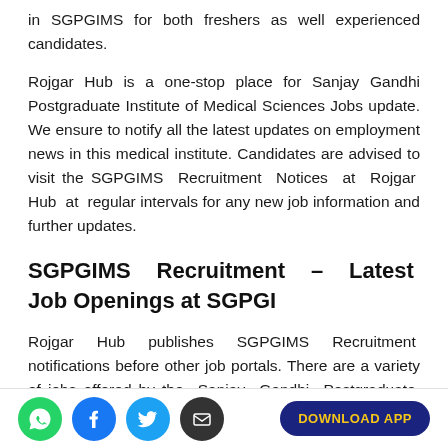in SGPGIMS for both freshers as well experienced candidates.
Rojgar Hub is a one-stop place for Sanjay Gandhi Postgraduate Institute of Medical Sciences Jobs update. We ensure to notify all the latest updates on employment news in this medical institute. Candidates are advised to visit the SGPGIMS Recruitment Notices at Rojgar Hub at regular intervals for any new job information and further updates.
SGPGIMS Recruitment – Latest Job Openings at SGPGI
Rojgar Hub publishes SGPGIMS Recruitment notifications before other job portals. There are a variety of jobs offered by the Sanjay Gandhi Postgraduate Institute of Medical